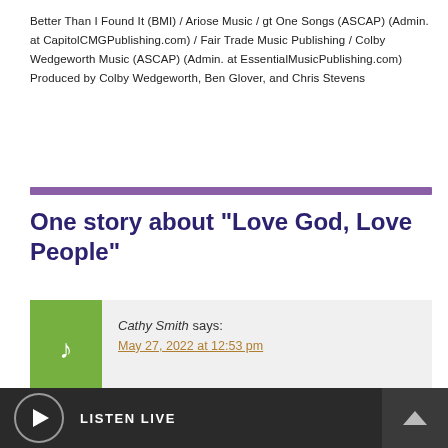Better Than I Found It (BMI) / Ariose Music / gt One Songs (ASCAP) (Admin. at CapitolCMGPublishing.com) / Fair Trade Music Publishing / Colby Wedgeworth Music (ASCAP) (Admin. at EssentialMusicPublishing.com)
Produced by Colby Wedgeworth, Ben Glover, and Chris Stevens
One story about "Love God, Love People"
Cathy Smith says:
May 27, 2022 at 12:53 pm
LISTEN LIVE